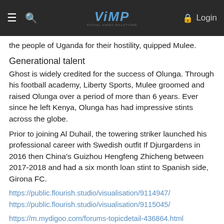VIMP | Login
the people of Uganda for their hostility, quipped Mulee.
Generational talent
Ghost is widely credited for the success of Olunga. Through his football academy, Liberty Sports, Mulee groomed and raised Olunga over a period of more than 6 years. Ever since he left Kenya, Olunga has had impressive stints across the globe.
Prior to joining Al Duhail, the towering striker launched his professional career with Swedish outfit If Djurgardens in 2016 then China’s Guizhou Hengfeng Zhicheng between 2017-2018 and had a six month loan stint to Spanish side, Girona FC.
https://public.flourish.studio/visualisation/9114947/
https://public.flourish.studio/visualisation/9115045/
https://m.mydigoo.com/forums-topicdetail-436864.html
https://public.flourish.studio/visualisation/9115071/
https://public.flourish.studio/visualisation/9115087/
http://www.shadowville.com/board/general-discussions/chelsea-club-allowe...
https://public.flourish.studio/visualisation/9115101/
https://issuu.com/saleshinton4333